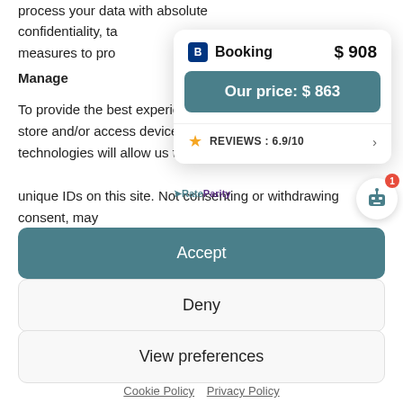process your data with absolute confidentiality, taking appropriate measures to pro...
Manage
To provide the best experience, store and/or access device information. Consenting to these technologies will allow us to process data such as browsing behavior or unique IDs on this site. Not consenting or withdrawing consent, may adversely affect certain features and functions.
[Figure (screenshot): Popup card showing Booking price $908 and Our price: $863, with REVIEWS: 6.9/10]
Accept
Deny
View preferences
Cookie Policy   Privacy Policy